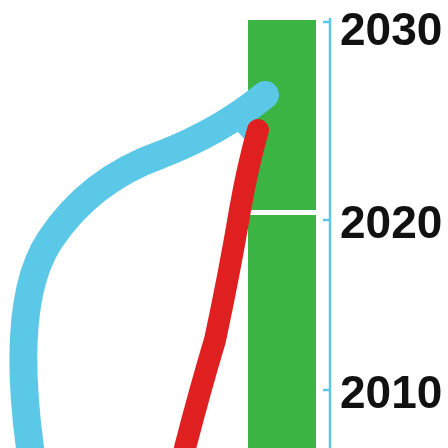[Figure (infographic): Infographic showing a timeline with years 2010, 2020, 2030 marked on a vertical blue axis line on the right side. Two green vertical bars are shown: a taller one spanning from below 2010 to above 2020, and a shorter one spanning from above 2020 to about 2025. A large blue curved arrow sweeps upward from the lower left toward upper right. A thick red curved line rises steeply from the bottom center area.]